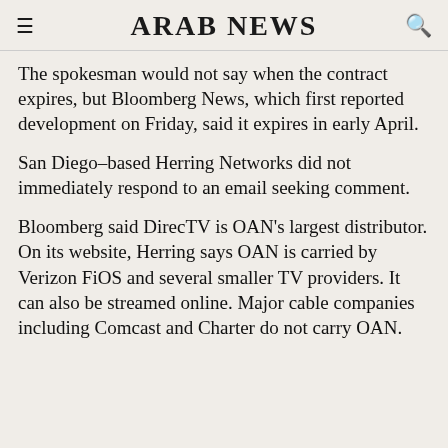ARAB NEWS
The spokesman would not say when the contract expires, but Bloomberg News, which first reported development on Friday, said it expires in early April.
San Diego-based Herring Networks did not immediately respond to an email seeking comment.
Bloomberg said DirecTV is OAN's largest distributor. On its website, Herring says OAN is carried by Verizon FiOS and several smaller TV providers. It can also be streamed online. Major cable companies including Comcast and Charter do not carry OAN.